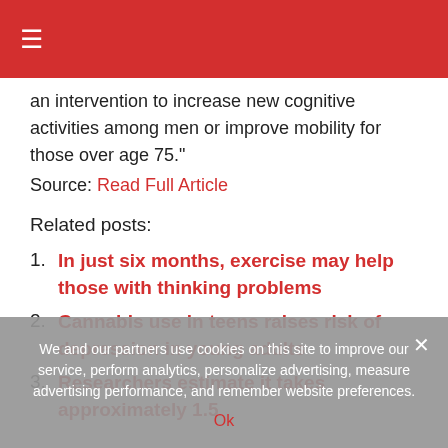☰
an intervention to increase new cognitive activities among men or improve mobility for those over age 75."
Source: Read Full Article
Related posts:
In just six months, exercise may help those with thinking problems
Cannabis use in teens raises risk of depression in young adults
Researchers estimate it takes approximately 1.5
We and our partners use cookies on this site to improve our service, perform analytics, personalize advertising, measure advertising performance, and remember website preferences.
Ok